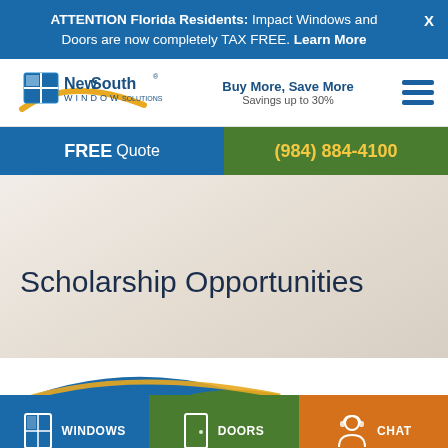ATTENTION Florida Residents: Impact Windows and Doors are now completely TAX FREE. Learn More
[Figure (logo): NewSouth Window Solutions logo with gold arc and window grid icon]
Buy More, Save More
Savings up to 30%
FREE Quote
(984) 884-4100
Scholarship Opportunities
WINDOWS
DOORS
CHAT